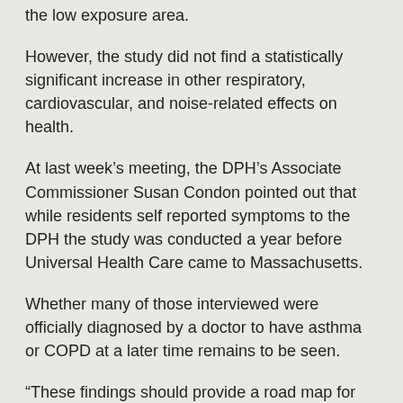the low exposure area.
However, the study did not find a statistically significant increase in other respiratory, cardiovascular, and noise-related effects on health.
At last week's meeting, the DPH's Associate Commissioner Susan Condon pointed out that while residents self reported symptoms to the DPH the study was conducted a year before Universal Health Care came to Massachusetts.
Whether many of those interviewed were officially diagnosed by a doctor to have asthma or COPD at a later time remains to be seen.
“These findings should provide a road map for community and agency actions that can be taken to further reduce impacts of air pollution on the health